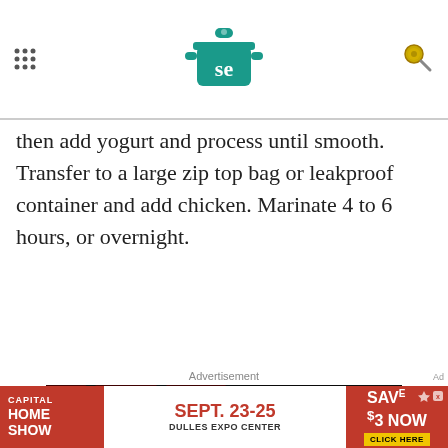Serious Eats - header with logo and navigation
then add yogurt and process until smooth. Transfer to a large zip top bag or leakproof container and add chicken. Marinate 4 to 6 hours, or overnight.
Advertisement
[Figure (illustration): Advertisement banner with dark background and red dot pattern. Text reads: 'We help people find answers, solve problems and get inspired.' with 'LEARN MORE' button. Shows logos at bottom right.]
[Figure (illustration): Bottom banner ad for Capital Home Show, Sept. 23-25 at Dulles Expo Center. Save $3 Now - Click Here.]